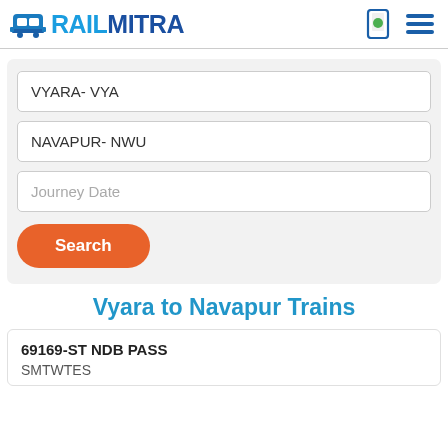RAILMITRA
VYARA- VYA
NAVAPUR- NWU
Journey Date
Search
Vyara to Navapur Trains
69169-ST NDB PASS
SMTWTES